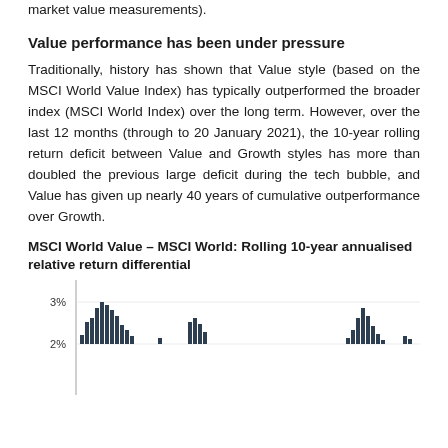market value measurements).
Value performance has been under pressure
Traditionally, history has shown that Value style (based on the MSCI World Value Index) has typically outperformed the broader index (MSCI World Index) over the long term. However, over the last 12 months (through to 20 January 2021), the 10-year rolling return deficit between Value and Growth styles has more than doubled the previous large deficit during the tech bubble, and Value has given up nearly 40 years of cumulative outperformance over Growth.
MSCI World Value – MSCI World: Rolling 10-year annualised relative return differential
[Figure (continuous-plot): Partial bar/line chart showing MSCI World Value minus MSCI World rolling 10-year annualised relative return differential. Y-axis shows 2% and 3% labels visible. Chart is cut off at the bottom of the page.]